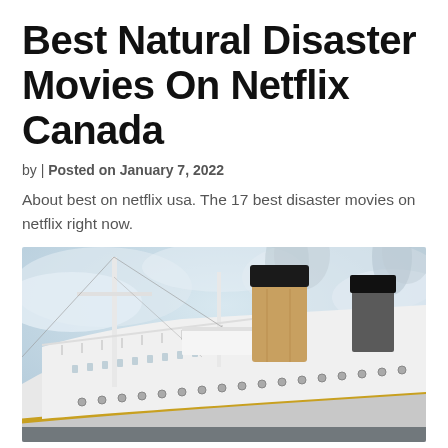Best Natural Disaster Movies On Netflix Canada
by | Posted on January 7, 2022
About best on netflix usa. The 17 best disaster movies on netflix right now.
[Figure (photo): Photo of a large ocean liner ship (resembling the Titanic), viewed from below at an angle showing the hull, funnels emitting smoke, masts, and railings against a cloudy sky.]